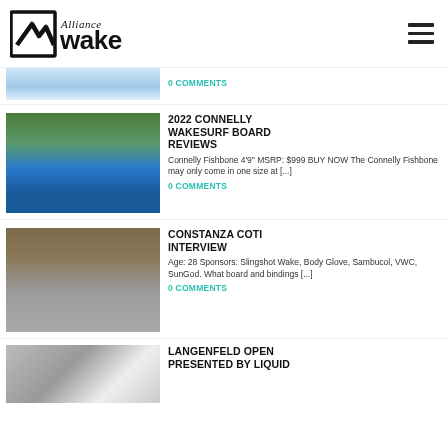Alliance Wake
0 COMMENTS
2022 CONNELLY WAKESURF BOARD REVIEWS
Connelly Fishbone 4'9" MSRP: $999 BUY NOW The Connelly Fishbone may only come in one size at [...]
0 COMMENTS
CONSTANZA COTI INTERVIEW
Age: 28 Sponsors: Slingshot Wake, Body Glove, Sambucol, VWC, SunGod. What board and bindings [...]
0 COMMENTS
LANGENFELD OPEN PRESENTED BY LIQUID